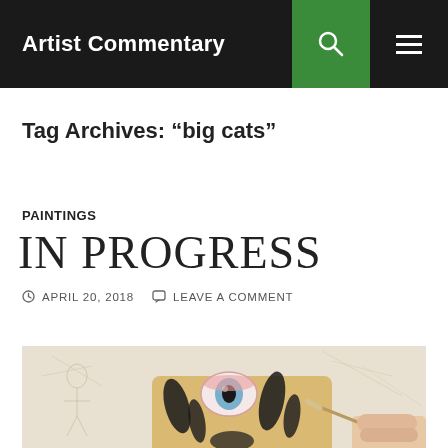Artist Commentary
Tag Archives: “big cats”
PAINTINGS
IN PROGRESS
APRIL 20, 2018   LEAVE A COMMENT
[Figure (photo): Close-up photo of an artist painting a big cat (tiger) eye on canvas, showing pencil sketch lines in background and a hand holding a fine brush]